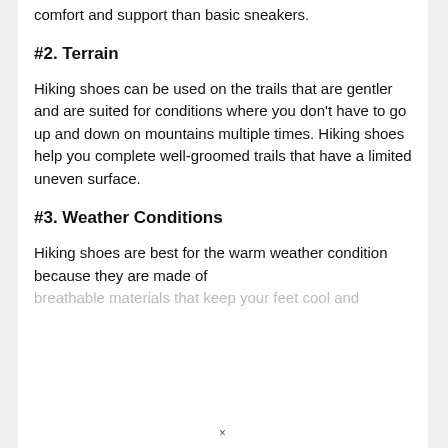comfort and support than basic sneakers.
#2. Terrain
Hiking shoes can be used on the trails that are gentler and are suited for conditions where you don't have to go up and down on mountains multiple times. Hiking shoes help you complete well-groomed trails that have a limited uneven surface.
#3. Weather Conditions
Hiking shoes are best for the warm weather condition because they are made of